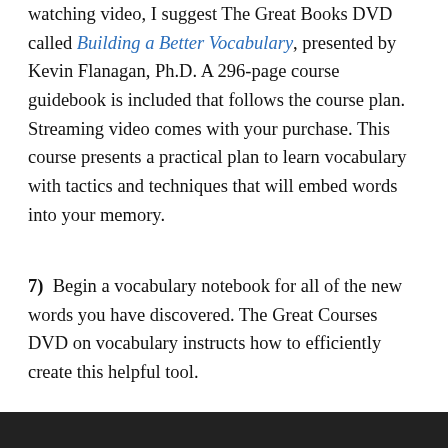watching video, I suggest The Great Books DVD called Building a Better Vocabulary, presented by Kevin Flanagan, Ph.D. A 296-page course guidebook is included that follows the course plan. Streaming video comes with your purchase. This course presents a practical plan to learn vocabulary with tactics and techniques that will embed words into your memory.
7)  Begin a vocabulary notebook for all of the new words you have discovered. The Great Courses DVD on vocabulary instructs how to efficiently create this helpful tool.
Privacy & Cookies: This site uses cookies. By continuing to use this website, you agree to their use. To find out more, including how to control cookies, see here: Cookie Policy